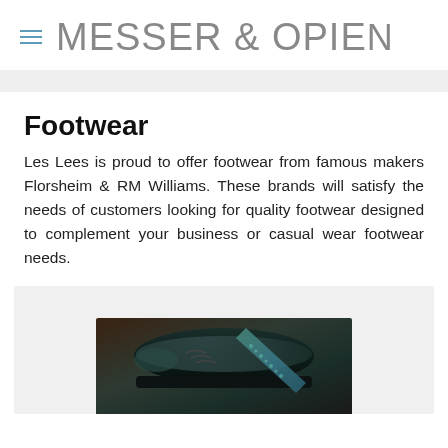MESSER & OPIENV
Footwear
Les Lees is proud to offer footwear from famous makers Florsheim & RM Williams. These brands will satisfy the needs of customers looking for quality footwear designed to complement your business or casual wear footwear needs.
[Figure (photo): Close-up photograph of black leather dress shoes with a teal/blue patterned tie or accessory, on a textured surface.]